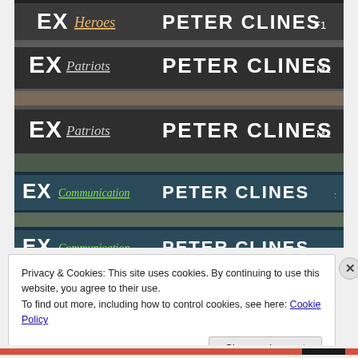[Figure (photo): A stack of books by Peter Clines showing spines: EX Heroes, EX Patriots (two copies), EX Communication (three copies), all stacked on top of each other photographed from above.]
Privacy & Cookies: This site uses cookies. By continuing to use this website, you agree to their use.
To find out more, including how to control cookies, see here: Cookie Policy